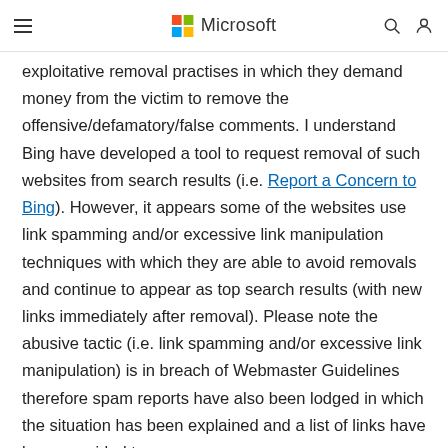Microsoft
exploitative removal practises in which they demand money from the victim to remove the offensive/defamatory/false comments. I understand Bing have developed a tool to request removal of such websites from search results (i.e. Report a Concern to Bing). However, it appears some of the websites use link spamming and/or excessive link manipulation techniques with which they are able to avoid removals and continue to appear as top search results (with new links immediately after removal). Please note the abusive tactic (i.e. link spamming and/or excessive link manipulation) is in breach of Webmaster Guidelines therefore spam reports have also been lodged in which the situation has been explained and a list of links have been provided to